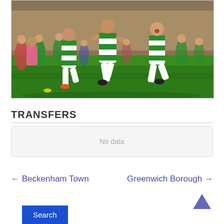[Figure (photo): Football players in green and white hooped jerseys celebrating on a grass pitch, with crowd and buildings in background]
TRANSFERS
| No data |
← Beckenham Town    Greenwich Borough →
Search